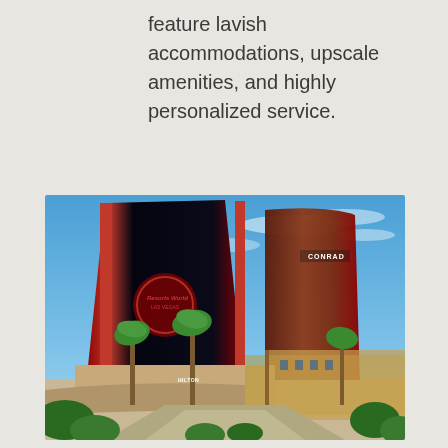feature lavish accommodations, upscale amenities, and highly personalized service.
[Figure (photo): Exterior view of Resorts World Las Vegas showing two large hotel towers — one with a red and black LED facade displaying the Resorts World logo, and a curved copper/brown tower with 'Conrad' signage — surrounded by palm trees and low-rise entrance structures under a blue sky.]